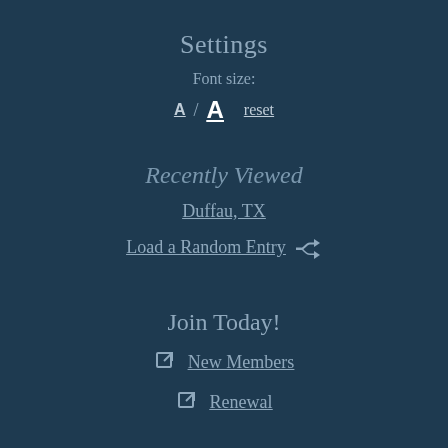Settings
Font size:
A / A  reset
Recently Viewed
Duffau, TX
Load a Random Entry
Join Today!
New Members
Renewal